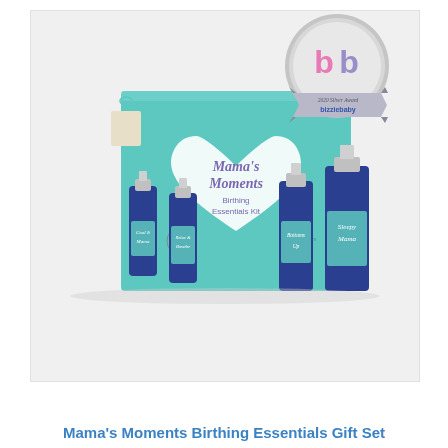[Figure (photo): Product photo of Mama's Moments Birthing Essentials Kit, a teal gift box with a heart design containing four blue spray bottles labeled: Cool It Mama, Relax & Breathe, Bottoms Up, and Sleepy Mama. A silver Bizzie Baby 2020 Silver Award badge is shown in the upper right corner.]
Mama's Moments Birthing Essentials Gift Set